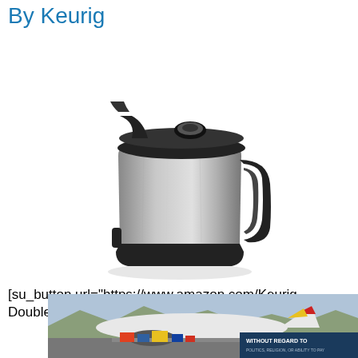By Keurig
[Figure (photo): A stainless steel and black Keurig thermal carafe with handle and lid, on a white background.]
[su_button url="https://www.amazon.com/Keurig-Double-Walled-Vacuum-Insulated-Stainless-
[Figure (photo): An airplane being loaded with cargo on a tarmac, partially visible advertisement with text 'WITHOUT REGARD TO POLITICS, RELIGION, OR ABILITY TO PAY'.]